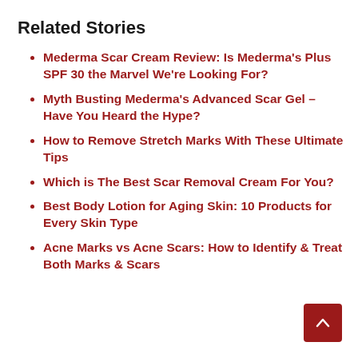Related Stories
Mederma Scar Cream Review: Is Mederma's Plus SPF 30 the Marvel We're Looking For?
Myth Busting Mederma's Advanced Scar Gel – Have You Heard the Hype?
How to Remove Stretch Marks With These Ultimate Tips
Which is The Best Scar Removal Cream For You?
Best Body Lotion for Aging Skin: 10 Products for Every Skin Type
Acne Marks vs Acne Scars: How to Identify & Treat Both Marks & Scars